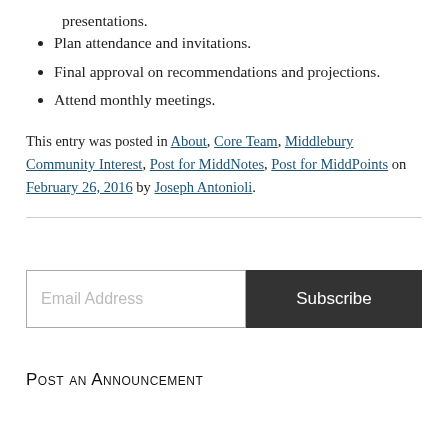presentations.
Plan attendance and invitations.
Final approval on recommendations and projections.
Attend monthly meetings.
This entry was posted in About, Core Team, Middlebury Community Interest, Post for MiddNotes, Post for MiddPoints on February 26, 2016 by Joseph Antonioli.
Email Address Subscribe
Post an Announcement